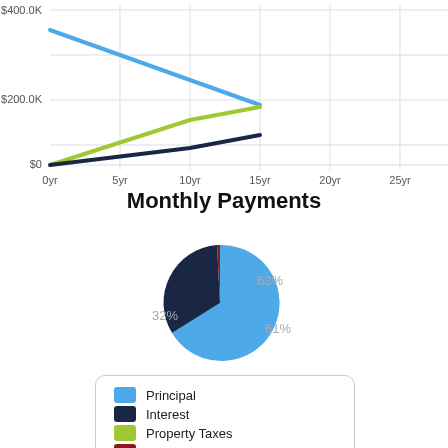[Figure (line-chart): ]
Monthly Payments
[Figure (pie-chart): Monthly Payments]
[Figure (other): Legend showing Principal (blue), Interest (dark navy), Property Taxes (green), Other Cost (dark red)]